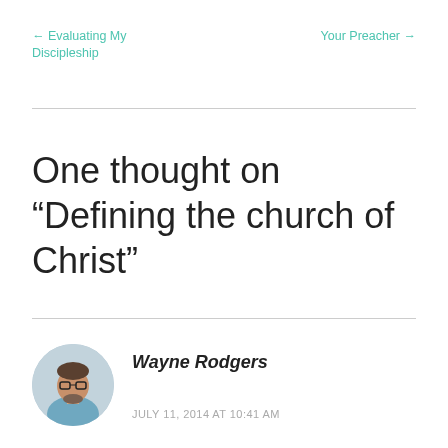← Evaluating My Discipleship    Your Preacher →
One thought on “Defining the church of Christ”
Wayne Rodgers
JULY 11, 2014 AT 10:41 AM